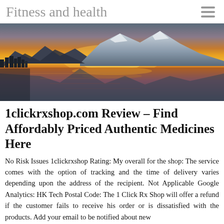Fitness and health
[Figure (photo): Panoramic landscape photo of snow-capped mountains at sunset with orange and red sky reflecting in a calm lake below, with dark silhouetted trees on the left side.]
1clickrxshop.com Review – Find Affordably Priced Authentic Medicines Here
No Risk Issues 1clickrxshop Rating: My overall for the shop: The service comes with the option of tracking and the time of delivery varies depending upon the address of the recipient. Not Applicable Google Analytics: HK Tech Postal Code: The 1 Click Rx Shop will offer a refund if the customer fails to receive his order or is dissatisfied with the products. Add your email to be notified about new